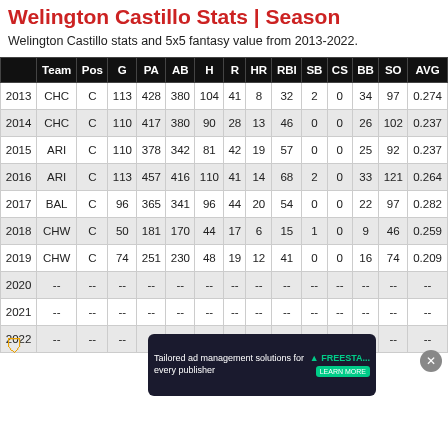Welington Castillo Stats | Season
Welington Castillo stats and 5x5 fantasy value from 2013-2022.
|  | Team | Pos | G | PA | AB | H | R | HR | RBI | SB | CS | BB | SO | AVG |
| --- | --- | --- | --- | --- | --- | --- | --- | --- | --- | --- | --- | --- | --- | --- |
| 2013 | CHC | C | 113 | 428 | 380 | 104 | 41 | 8 | 32 | 2 | 0 | 34 | 97 | 0.274 |
| 2014 | CHC | C | 110 | 417 | 380 | 90 | 28 | 13 | 46 | 0 | 0 | 26 | 102 | 0.237 |
| 2015 | ARI | C | 110 | 378 | 342 | 81 | 42 | 19 | 57 | 0 | 0 | 25 | 92 | 0.237 |
| 2016 | ARI | C | 113 | 457 | 416 | 110 | 41 | 14 | 68 | 2 | 0 | 33 | 121 | 0.264 |
| 2017 | BAL | C | 96 | 365 | 341 | 96 | 44 | 20 | 54 | 0 | 0 | 22 | 97 | 0.282 |
| 2018 | CHW | C | 50 | 181 | 170 | 44 | 17 | 6 | 15 | 1 | 0 | 9 | 46 | 0.259 |
| 2019 | CHW | C | 74 | 251 | 230 | 48 | 19 | 12 | 41 | 0 | 0 | 16 | 74 | 0.209 |
| 2020 | -- | -- | -- | -- | -- | -- | -- | -- | -- | -- | -- | -- | -- | -- |
| 2021 | -- | -- | -- | -- | -- | -- | -- | -- | -- | -- | -- | -- | -- | -- |
| 2022 | -- | -- | -- | -- | -- | -- | -- | -- | -- | -- | -- | -- | -- | -- |